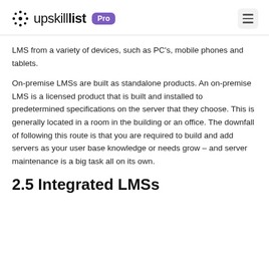upskillist Pro
LMS from a variety of devices, such as PC's, mobile phones and tablets.
On-premise LMSs are built as standalone products. An on-premise LMS is a licensed product that is built and installed to predetermined specifications on the server that they choose. This is generally located in a room in the building or an office. The downfall of following this route is that you are required to build and add servers as your user base knowledge or needs grow – and server maintenance is a big task all on its own.
2.5 Integrated LMSs